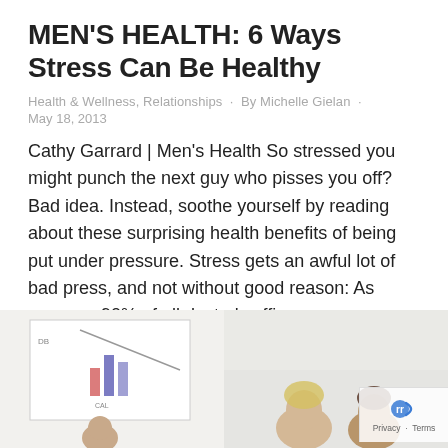MEN'S HEALTH: 6 Ways Stress Can Be Healthy
Health & Wellness, Relationships · By Michelle Gielan ·
May 18, 2013
Cathy Garrard | Men's Health So stressed you might punch the next guy who pisses you off? Bad idea. Instead, soothe yourself by reading about these surprising health benefits of being put under pressure. Stress gets an awful lot of bad press, and not without good reason: As many as 90% of all doctor's office...
[Figure (photo): Two partial photographs at the bottom of the page. Left image shows a person holding or near a whiteboard/chart with bar graphs sketched on it. Right image shows two people (blonde woman and darker-haired person) in discussion.]